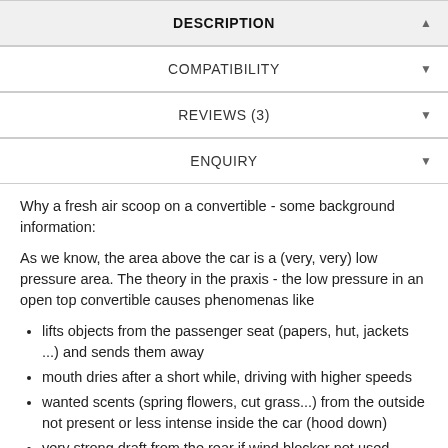DESCRIPTION
COMPATIBILITY
REVIEWS (3)
ENQUIRY
Why a fresh air scoop on a convertible - some background information:
As we know, the area above the car is a (very, very) low pressure area. The theory in the praxis - the low pressure in an open top convertible causes phenomenas like
lifts objects from the passenger seat (papers, hut, jackets ...) and sends them away
mouth dries after a short while, driving with higher speeds
wanted scents (spring flowers, cut grass...) from the outside not present or less intense inside the car (hood down)
very strong draft from the rear if wind blocker not used